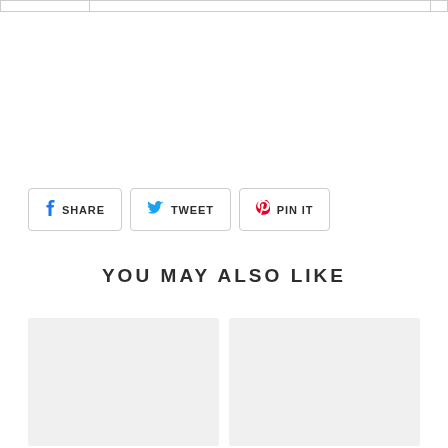[Figure (other): Top navigation or breadcrumb bar with bordered cells]
SHARE   TWEET   PIN IT
YOU MAY ALSO LIKE
[Figure (photo): Left product card placeholder image (light gray background)]
[Figure (photo): Right product card placeholder image (light gray background)]